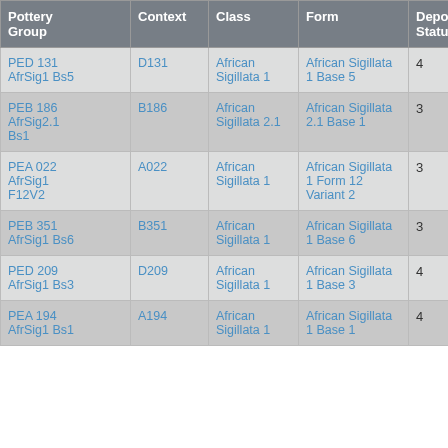| Pottery Group | Context | Class | Form | Depos Status | R Ct | R EV |
| --- | --- | --- | --- | --- | --- | --- |
| PED 131 AfrSig1 Bs5 | D131 | African Sigillata 1 | African Sigillata 1 Base 5 | 4 |  |  |
| PEB 186 AfrSig2.1 Bs1 | B186 | African Sigillata 2.1 | African Sigillata 2.1 Base 1 | 3 |  |  |
| PEA 022 AfrSig1 F12V2 | A022 | African Sigillata 1 | African Sigillata 1 Form 12 Variant 2 | 3 | 1 | 1 |
| PEB 351 AfrSig1 Bs6 | B351 | African Sigillata 1 | African Sigillata 1 Base 6 | 3 |  |  |
| PED 209 AfrSig1 Bs3 | D209 | African Sigillata 1 | African Sigillata 1 Base 3 | 4 |  |  |
| PEA 194 AfrSig1 Bs1 | A194 | African Sigillata 1 | African Sigillata 1 Base 1 | 4 |  |  |